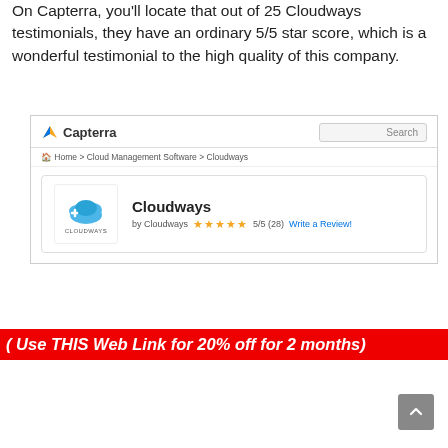On Capterra, you'll locate that out of 25 Cloudways testimonials, they have an ordinary 5/5 star score, which is a wonderful testimonial to the high quality of this company.
[Figure (screenshot): Screenshot of Capterra website showing the Cloudways listing with 5/5 star rating (28 reviews) and a Write a Review link. Shows Capterra logo, search bar, breadcrumb navigation (Home > Cloud Management Software > Cloudways), and Cloudways logo card.]
( Use THIS Web Link for 20% off for 2 months)